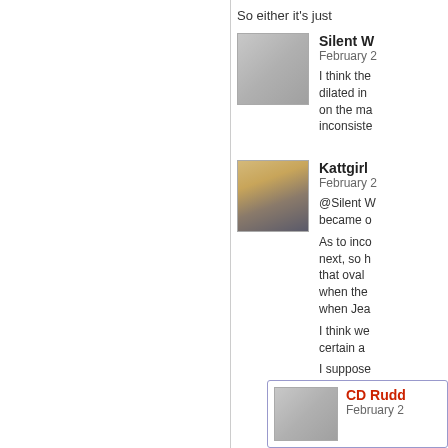So either it's just
Silent W
February 2
I think the dilated in on the ma inconsiste
[Figure (photo): Gray placeholder avatar image for Silent W]
Kattgirl
February 2
@Silent W became o

As to inco next, so h that oval when the when Jea

I think we certain a

I suppose
[Figure (photo): Profile photo of Kattgirl, blonde woman]
CD Rudd
February 2
[Figure (photo): Gray placeholder avatar image for CD Rudd]